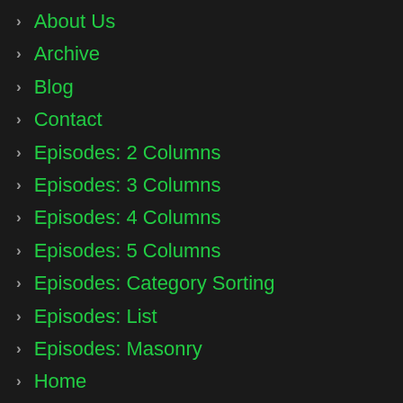About Us
Archive
Blog
Contact
Episodes: 2 Columns
Episodes: 3 Columns
Episodes: 4 Columns
Episodes: 5 Columns
Episodes: Category Sorting
Episodes: List
Episodes: Masonry
Home
Home: Episode Slider